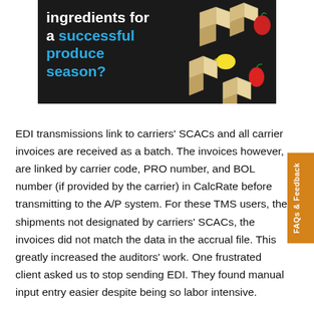[Figure (illustration): Dark banner advertisement with text 'ingredients for a successful produce season?' on the left in white and cyan/blue, and floating food items (cubes, apple, lemon, red pepper) on a black background to the right.]
EDI transmissions link to carriers' SCACs and all carrier invoices are received as a batch. The invoices however, are linked by carrier code, PRO number, and BOL number (if provided by the carrier) in CalcRate before transmitting to the A/P system. For these TMS users, the shipments not designated by carriers' SCACs, the invoices did not match the data in the accrual file. This greatly increased the auditors' work. One frustrated client asked us to stop sending EDI. They found manual input entry easier despite being so labor intensive.